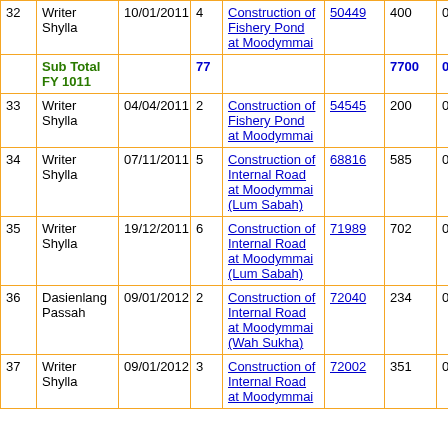| # | Name | Date | No. | Description | Code | Amount | Extra |
| --- | --- | --- | --- | --- | --- | --- | --- |
| 32 | Writer Shylla | 10/01/2011 | 4 | Construction of Fishery Pond at Moodymmai | 50449 | 400 | 0 |
| Sub Total FY 1011 |  |  | 77 |  |  | 7700 | 0 |
| 33 | Writer Shylla | 04/04/2011 | 2 | Construction of Fishery Pond at Moodymmai | 54545 | 200 | 0 |
| 34 | Writer Shylla | 07/11/2011 | 5 | Construction of Internal Road at Moodymmai (Lum Sabah) | 68816 | 585 | 0 |
| 35 | Writer Shylla | 19/12/2011 | 6 | Construction of Internal Road at Moodymmai (Lum Sabah) | 71989 | 702 | 0 |
| 36 | Dasienlang Passah | 09/01/2012 | 2 | Construction of Internal Road at Moodymmai (Wah Sukha) | 72040 | 234 | 0 |
| 37 | Writer Shylla | 09/01/2012 | 3 | Construction of Internal Road at Moodymmai | 72002 | 351 | 0 |